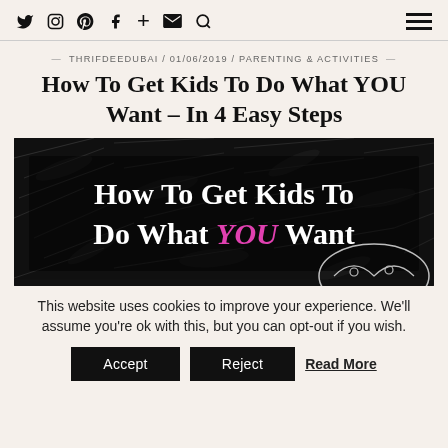Social icons: Twitter, Instagram, Pinterest, Facebook, Plus, Email, Search | Hamburger menu
THRIFDEEDUBAI / 01/06/2019 / PARENTING & ACTIVITIES
How To Get Kids To Do What YOU Want – In 4 Easy Steps
[Figure (illustration): Hero image with dark leaf/foliage texture background. Large bold white serif text reads 'How To Get Kids To Do What YOU Want' where YOU is in pink/magenta. Bottom right corner shows a partial sketch/cartoon illustration of a face.]
This website uses cookies to improve your experience. We'll assume you're ok with this, but you can opt-out if you wish.
Accept | Reject | Read More